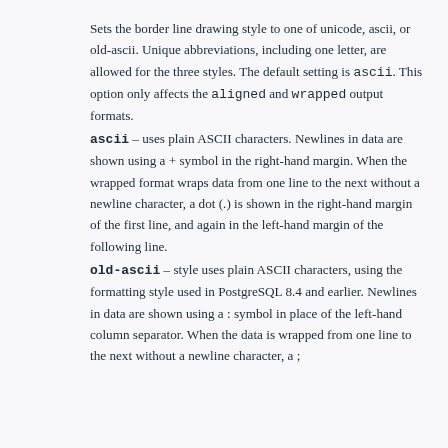Sets the border line drawing style to one of unicode, ascii, or old-ascii. Unique abbreviations, including one letter, are allowed for the three styles. The default setting is ascii. This option only affects the aligned and wrapped output formats.
ascii – uses plain ASCII characters. Newlines in data are shown using a + symbol in the right-hand margin. When the wrapped format wraps data from one line to the next without a newline character, a dot (.) is shown in the right-hand margin of the first line, and again in the left-hand margin of the following line.
old-ascii – style uses plain ASCII characters, using the formatting style used in PostgreSQL 8.4 and earlier. Newlines in data are shown using a : symbol in place of the left-hand column separator. When the data is wrapped from one line to the next without a newline character, a ;